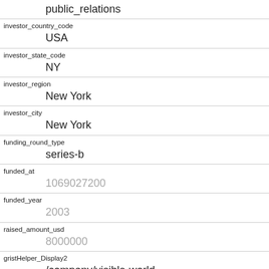public_relations
investor_country_code
USA
investor_state_code
NY
investor_region
New York
investor_city
New York
funding_round_type
series-b
funded_at
1069027200
funded_year
2003
raised_amount_usd
8000000
gristHelper_Display2
/company/visible-world
Company_category_code
advertising